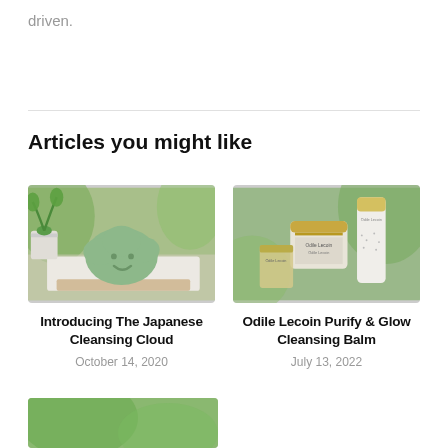driven.
Articles you might like
[Figure (photo): Green cloud-shaped soap with a smiley face on a white towel, with a plant in the background]
Introducing The Japanese Cleansing Cloud
October 14, 2020
[Figure (photo): Odile Lecoin skincare products including a jar and bottle with gold accents on a green background]
Odile Lecoin Purify & Glow Cleansing Balm
July 13, 2022
[Figure (photo): Partial view of a third article image with green background]